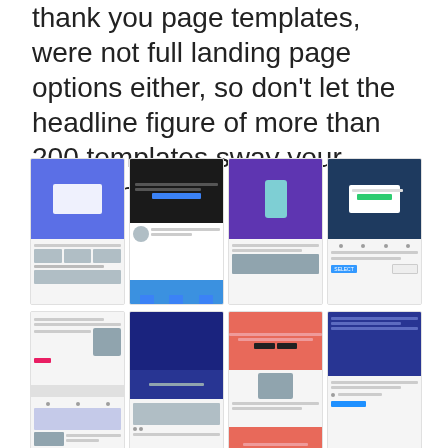thank you page templates, were not full landing page options either, so don’t let the headline figure of more than 200 templates sway your decision.
[Figure (screenshot): A 4x2 grid of website landing page template thumbnails showing various designs including blue, dark, purple, and coral color schemes.]